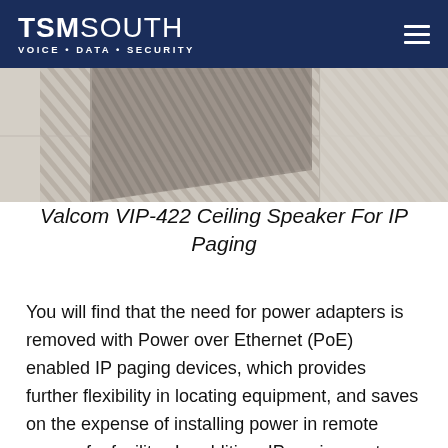TSM SOUTH VOICE · DATA · SECURITY
[Figure (photo): Partial view of a Valcom VIP-422 ceiling speaker mounted in a ceiling tile grid, showing a textured ceiling tile with the speaker partially visible]
Valcom VIP-422 Ceiling Speaker For IP Paging
You will find that the need for power adapters is removed with Power over Ethernet (PoE) enabled IP paging devices, which provides further flexibility in locating equipment, and saves on the expense of installing power in remote areas of a facility.  In addition, IP paging systems reduce the reliance on backup batteries